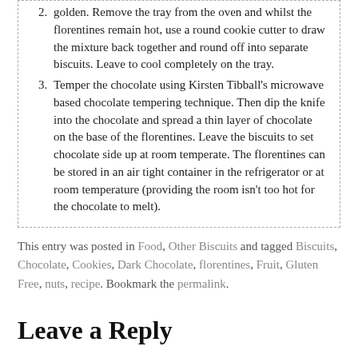golden. Remove the tray from the oven and whilst the florentines remain hot, use a round cookie cutter to draw the mixture back together and round off into separate biscuits. Leave to cool completely on the tray.
Temper the chocolate using Kirsten Tibball's microwave based chocolate tempering technique. Then dip the knife into the chocolate and spread a thin layer of chocolate on the base of the florentines. Leave the biscuits to set chocolate side up at room temperate. The florentines can be stored in an air tight container in the refrigerator or at room temperature (providing the room isn't too hot for the chocolate to melt).
This entry was posted in Food, Other Biscuits and tagged Biscuits, Chocolate, Cookies, Dark Chocolate, florentines, Fruit, Gluten Free, nuts, recipe. Bookmark the permalink.
Leave a Reply
Your email address will not be published. Required fields are marked *